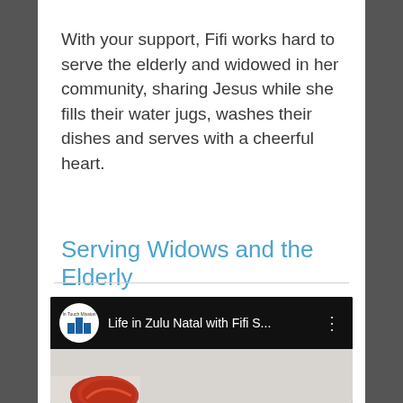With your support, Fifi works hard to serve the elderly and widowed in her community, sharing Jesus while she fills their water jugs, washes their dishes and serves with a cheerful heart.
Serving Widows and the Elderly
[Figure (screenshot): Video thumbnail screenshot showing a YouTube-style video player header with a circular logo (itm), the title 'Life in Zulu Natal with Fifi S...', a three-dot menu icon, and a thumbnail image below with a red object on a light surface.]